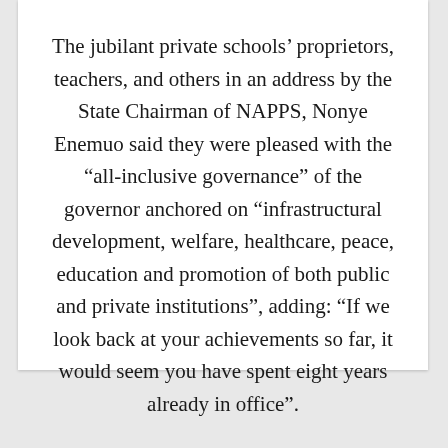The jubilant private schools' proprietors, teachers, and others in an address by the State Chairman of NAPPS, Nonye Enemuo said they were pleased with the “all-inclusive governance” of the governor anchored on “infrastructural development, welfare, healthcare, peace, education and promotion of both public and private institutions”, adding: “If we look back at your achievements so far, it would seem you have spent eight years already in office”.